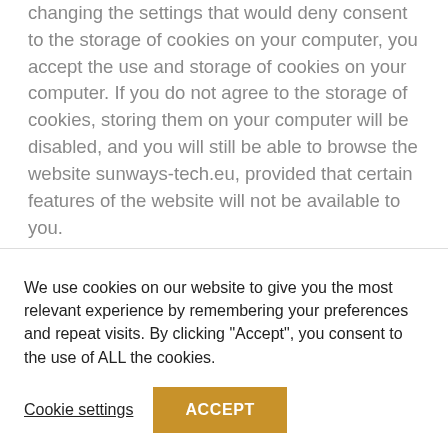changing the settings that would deny consent to the storage of cookies on your computer, you accept the use and storage of cookies on your computer. If you do not agree to the storage of cookies, storing them on your computer will be disabled, and you will still be able to browse the website sunways-tech.eu, provided that certain features of the website will not be available to you.

There are currently several Internet sites for
We use cookies on our website to give you the most relevant experience by remembering your preferences and repeat visits. By clicking "Accept", you consent to the use of ALL the cookies.
Cookie settings
ACCEPT